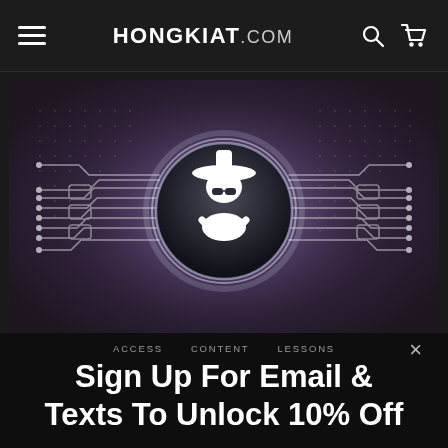HONGKIAT.COM
[Figure (illustration): Dark tech/hacker-themed hero illustration with a central glowing circle containing a white silhouette of a figure with a hat, surrounded by circuit board traces and dot-matrix grid patterns on a dark purple-grey background.]
×
ACCESS   CONTENT   LESSONS
Sign Up For Email & Texts To Unlock 10% Off